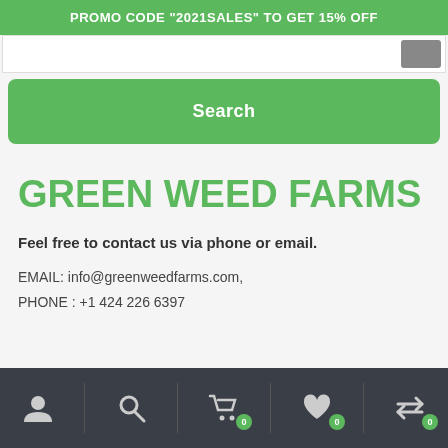PROMO CODE "2021SALES" TO GET 15% OFF
Search
GREEN WEED FARMS
Feel free to contact us via phone or email.
EMAIL: info@greenweedfarms.com,
PHONE : +1 424 226 6397
Navigation icons: user, search, cart (0), wishlist (0), compare (0)